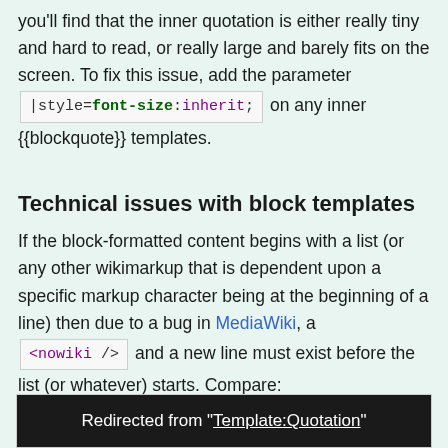you'll find that the inner quotation is either really tiny and hard to read, or really large and barely fits on the screen. To fix this issue, add the parameter |style=font-size:inherit; on any inner {{blockquote}} templates.
Technical issues with block templates
If the block-formatted content begins with a list (or any other wikimarkup that is dependent upon a specific markup character being at the beginning of a line) then due to a bug in MediaWiki, a <nowiki /> and a new line must exist before the list (or whatever) starts. Compare:
Redirected from "Template:Quotation"